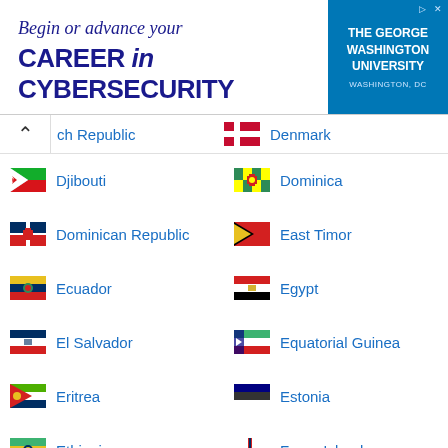[Figure (other): Advertisement banner for The George Washington University Cybersecurity program. Text: 'Begin or advance your CAREER in CYBERSECURITY' with GWU logo and Washington DC text.]
Czech Republic
Denmark
Djibouti
Dominica
Dominican Republic
East Timor
Ecuador
Egypt
El Salvador
Equatorial Guinea
Eritrea
Estonia
Ethiopia
Faroe Islands
Fiji
Finland
France
French Guiana
French Polynesia
Gabon